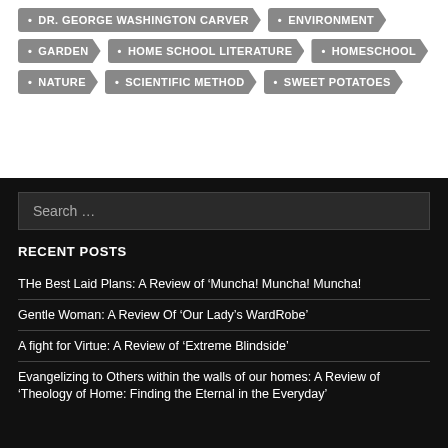DR. GEORGE WASHINGTON CARVER
ENVIRONMENT
GARDEN
HOME SCHOOL LITERATURE
HOMESCHOOL
NATURE
SCIENTIFIC METHOD
SWEET POTATOES
RECENT POSTS
THe Best Laid Plans: A Review of ‘Muncha! Muncha! Muncha!
Gentle Woman: A Review Of ‘Our Lady’s WardRobe’
A fight for Virtue: A Review of ‘Extreme Blindside’
Evangelizing to Others within the walls of our homes: A Review of ‘Theology of Home: Finding the Eternal in the Everyday’